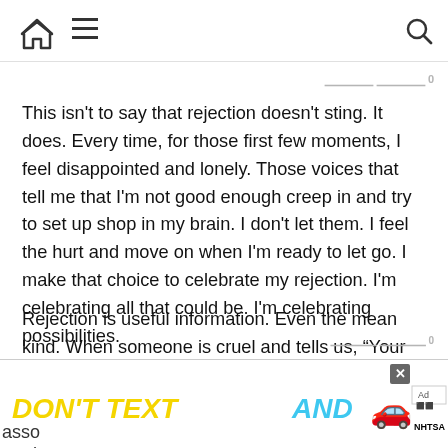[Navigation bar with home icon, menu icon, and search icon]
This isn't to say that rejection doesn't sting. It does. Every time, for those first few moments, I feel disappointed and lonely. Those voices that tell me that I'm not good enough creep in and try to set up shop in my brain. I don't let them. I feel the hurt and move on when I'm ready to let go. I make that choice to celebrate my rejection. I'm celebrating all that could be. I'm celebrating possibilities.
Rejection is useful information. Even the mean kind. When someone is cruel and tells us, “Your work sucks,” we know that those individuals are not acting professionally. They don't know how to identify good work, they can't tell anyone how to make improvements, and they are probably lashing out from their own place of inner rejection. We, as creative people, can choose w[...] asso[...] are [...] rm. We [...] s
[Figure (other): Advertisement banner: 'DON'T TEXT AND' with car emoji and NHTSA branding]